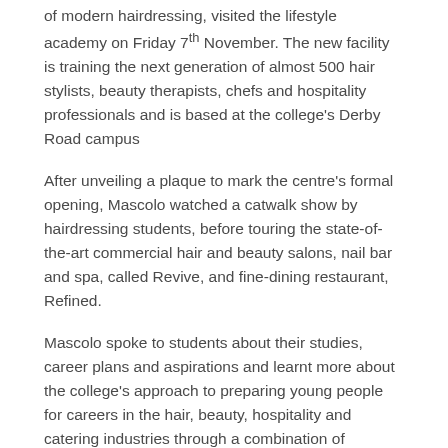of modern hairdressing, visited the lifestyle academy on Friday 7th November. The new facility is training the next generation of almost 500 hair stylists, beauty therapists, chefs and hospitality professionals and is based at the college's Derby Road campus
After unveiling a plaque to mark the centre's formal opening, Mascolo watched a catwalk show by hairdressing students, before touring the state-of-the-art commercial hair and beauty salons, nail bar and spa, called Revive, and fine-dining restaurant, Refined.
Mascolo spoke to students about their studies, career plans and aspirations and learnt more about the college's approach to preparing young people for careers in the hair, beauty, hospitality and catering industries through a combination of vocational training and practical work